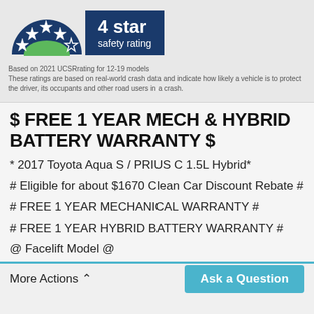[Figure (infographic): 4 star safety rating badge with blue semicircle arch containing stars (4 filled blue, 1 outline) and green hill, next to dark blue rectangle with '4 star safety rating' text in white]
Based on 2021 UCSRrating for 12-19 models
These ratings are based on real-world crash data and indicate how likely a vehicle is to protect the driver, its occupants and other road users in a crash.
$ FREE 1 YEAR MECH & HYBRID BATTERY WARRANTY $
* 2017 Toyota Aqua S / PRIUS C 1.5L Hybrid*
# Eligible for about $1670 Clean Car Discount Rebate #
# FREE 1 YEAR MECHANICAL WARRANTY #
# FREE 1 YEAR HYBRID BATTERY WARRANTY #
@ Facelift Model @
More Actions ∧
Ask a Question